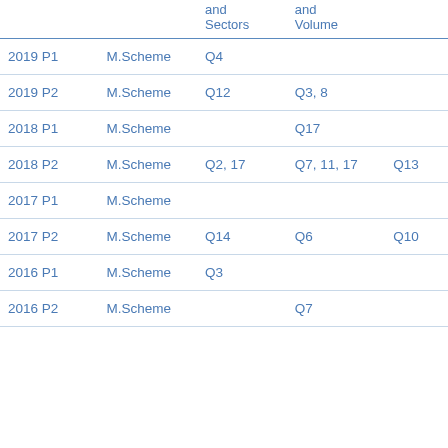|  |  | and Sectors | and Volume |  |
| --- | --- | --- | --- | --- |
| 2019 P1 | M.Scheme | Q4 |  |  |
| 2019 P2 | M.Scheme | Q12 | Q3, 8 |  |
| 2018 P1 | M.Scheme |  | Q17 |  |
| 2018 P2 | M.Scheme | Q2, 17 | Q7, 11, 17 | Q13 |
| 2017 P1 | M.Scheme |  |  |  |
| 2017 P2 | M.Scheme | Q14 | Q6 | Q10 |
| 2016 P1 | M.Scheme | Q3 |  |  |
| 2016 P2 | M.Scheme |  | Q7 |  |